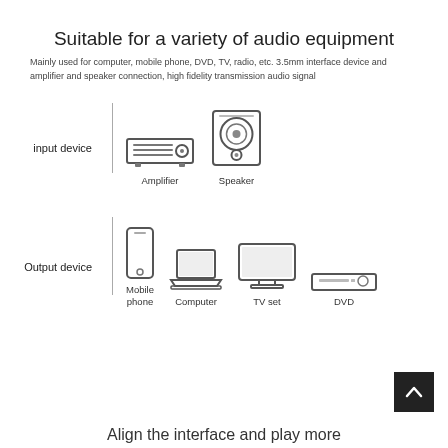Suitable for a variety of audio equipment
Mainly used for computer, mobile phone, DVD, TV, radio, etc. 3.5mm interface device and amplifier and speaker connection, high fidelity transmission audio signal
[Figure (infographic): Input device section showing icons for Amplifier and Speaker with a vertical divider line]
[Figure (infographic): Output device section showing icons for Mobile phone, Computer, TV set, and DVD with a vertical divider line]
Align the interface and play more